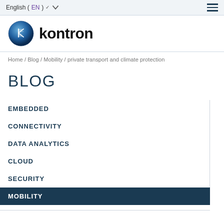English (EN) ▾
[Figure (logo): Kontron logo with blue globe icon and bold black 'kontron' wordmark]
Home / Blog / Mobility / private transport and climate protection
BLOG
EMBEDDED
CONNECTIVITY
DATA ANALYTICS
CLOUD
SECURITY
MOBILITY